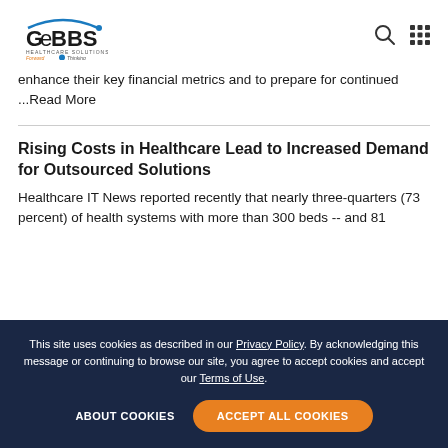[Figure (logo): GeBBS Healthcare Solutions logo with arc, tagline 'Forward Thinking']
enhance their key financial metrics and to prepare for continued
...Read More
Rising Costs in Healthcare Lead to Increased Demand for Outsourced Solutions
Healthcare IT News reported recently that nearly three-quarters (73 percent) of health systems with more than 300 beds -- and 81
This site uses cookies as described in our Privacy Policy. By acknowledging this message or continuing to browse our site, you agree to accept cookies and accept our Terms of Use.
ABOUT COOKIES   ACCEPT ALL COOKIES